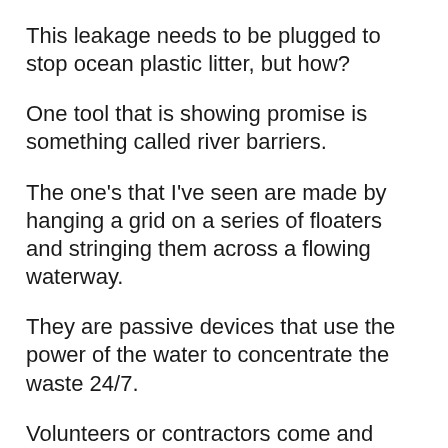This leakage needs to be plugged to stop ocean plastic litter, but how?
One tool that is showing promise is something called river barriers.
The one's that I've seen are made by hanging a grid on a series of floaters and stringing them across a flowing waterway.
They are passive devices that use the power of the water to concentrate the waste 24/7.
Volunteers or contractors come and clean them out regularly.
But how will these structures be financed?